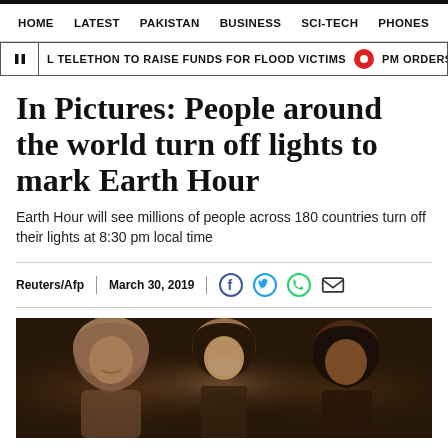HOME | LATEST | PAKISTAN | BUSINESS | SCI-TECH | PHONES | W
L TELETHON TO RAISE FUNDS FOR FLOOD VICTIMS  |  PM ORDERS INQUIRY INTO D
In Pictures: People around the world turn off lights to mark Earth Hour
Earth Hour will see millions of people across 180 countries turn off their lights at 8:30 pm local time
Reuters/Afp  |  March 30, 2019
[Figure (photo): Three women in a dimly lit room during Earth Hour, one wearing a hijab on the left, one in the center illuminated by a small light, and one on the right in darkness.]